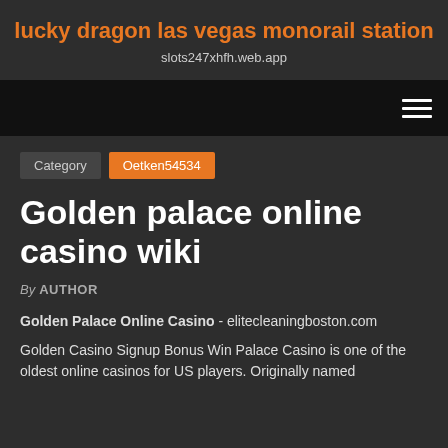lucky dragon las vegas monorail station
slots247xhfh.web.app
[Figure (other): Navigation bar with hamburger menu icon (three horizontal lines) on dark/black background]
Category   Oetken54534
Golden palace online casino wiki
By AUTHOR
Golden Palace Online Casino - elitecleaningboston.com
Golden Casino Signup Bonus Win Palace Casino is one of the oldest online casinos for US players. Originally named